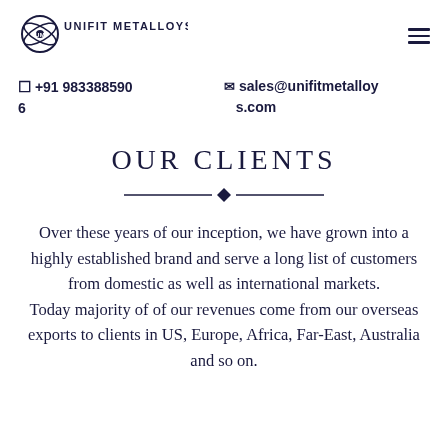[Figure (logo): Unifit Metalloys Inc logo with circular icon and company name in navy blue]
☎ +91 9833885906    ✉ sales@unifitmetalloys.com
OUR CLIENTS
Over these years of our inception, we have grown into a highly established brand and serve a long list of customers from domestic as well as international markets. Today majority of of our revenues come from our overseas exports to clients in US, Europe, Africa, Far-East, Australia and so on.